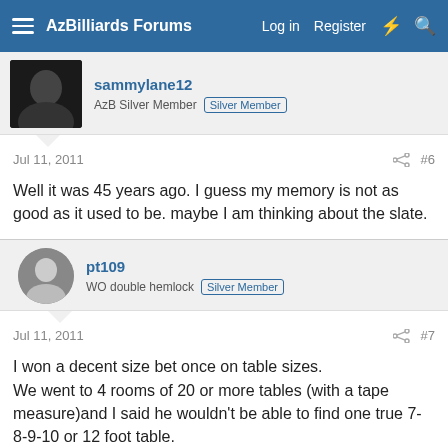AzBilliards Forums  Log in  Register
sammylane12
AzB Silver Member  Silver Member
Jul 11, 2011  #6
Well it was 45 years ago. I guess my memory is not as good as it used to be. maybe I am thinking about the slate.
pt109
WO double hemlock  Silver Member
Jul 11, 2011  #7
I won a decent size bet once on table sizes.
We went to 4 rooms of 20 or more tables (with a tape measure)and I said he wouldn't be able to find one true 7-8-9-10 or 12 foot table.